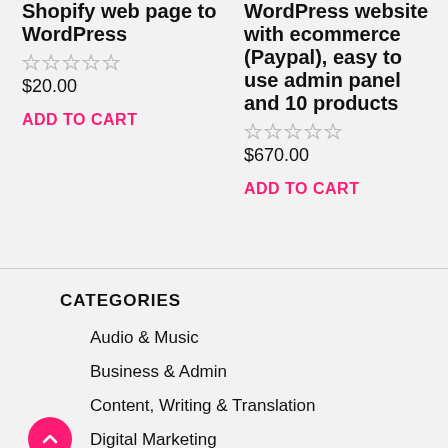Shopify web page to WordPress
$20.00
ADD TO CART
WordPress website with ecommerce (Paypal), easy to use admin panel and 10 products
$670.00
ADD TO CART
CATEGORIES
Audio & Music
Business & Admin
Content, Writing & Translation
Digital Marketing
Email Marketing